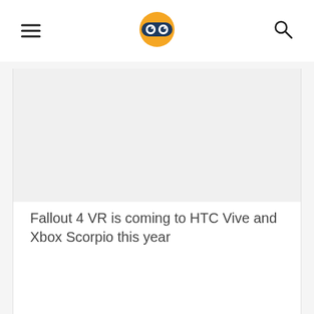[hamburger menu] [logo: masked face icon] [search icon]
[Figure (illustration): Light gray rectangular image placeholder area inside a white card]
Fallout 4 VR is coming to HTC Vive and Xbox Scorpio this year